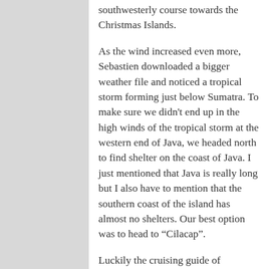southwesterly course towards the Christmas Islands.
As the wind increased even more, Sebastien downloaded a bigger weather file and noticed a tropical storm forming just below Sumatra. To make sure we didn't end up in the high winds of the tropical storm at the western end of Java, we headed north to find shelter on the coast of Java. I just mentioned that Java is really long but I also have to mention that the southern coast of the island has almost no shelters. Our best option was to head to “Cilacap”.
Luckily the cruising guide of Indonesia had a good description of the entrance and possible anchorages. On the way to shelter, we encountered headwinds of over 40 knots and lots of rain – no a lot of